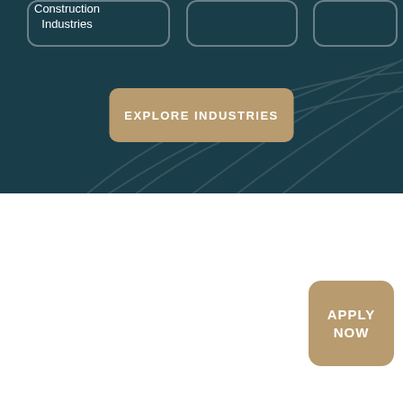[Figure (screenshot): Dark teal background section with decorative curved lines, two visible partially-cut rounded card boxes at top, and a tan/gold 'EXPLORE INDUSTRIES' button centered in the section. Text 'Construction Industries' appears in top-left card area.]
Construction Industries
EXPLORE INDUSTRIES
HOW IT'S POSSIBLE
Proven and Innovative Strategy
APPLY NOW